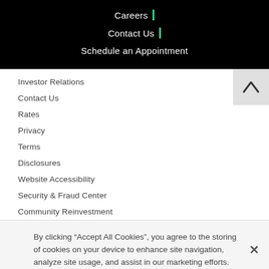Careers
Contact Us
Schedule an Appointment
Investor Relations
Contact Us
Rates
Privacy
Terms
Disclosures
Website Accessibility
Security & Fraud Center
Community Reinvestment
By clicking “Accept All Cookies”, you agree to the storing of cookies on your device to enhance site navigation, analyze site usage, and assist in our marketing efforts.